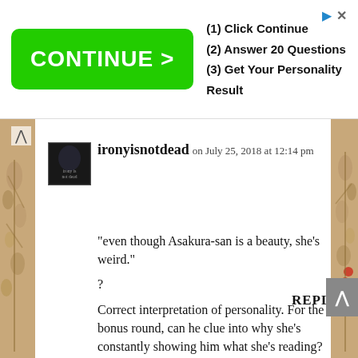[Figure (screenshot): Advertisement banner: green CONTINUE > button on left, steps on right: (1) Click Continue, (2) Answer 20 Questions, (3) Get Your Personality Result. Play and close icons top right.]
[Figure (photo): Small dark avatar thumbnail for user ironyisnotdead, showing a faint book cover image with text 'irony is not dead']
ironyisnotdead on July 25, 2018 at 12:14 pm
“even though Asakura-san is a beauty, she’s weird.”
?
Correct interpretation of personality. For the bonus round, can he clue into why she’s constantly showing him what she’s reading?
REPLY